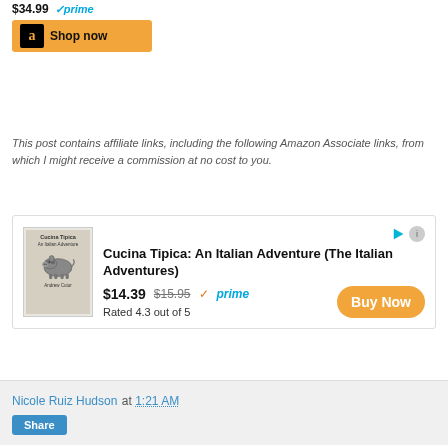[Figure (other): Amazon Shop Now widget showing $34.99 price with Prime badge and orange Shop now button with Amazon logo]
This post contains affiliate links, including the following Amazon Associate links, from which I might receive a commission at no cost to you.
[Figure (other): Advertisement for 'Cucina Tipica: An Italian Adventure (The Italian Adventures)' book showing cover image, price $14.39 (was $15.95) with Prime, rated 4.3 out of 5, and Buy Now orange button]
Nicole Ruiz Hudson at 1:21 AM
[Figure (other): Share button]